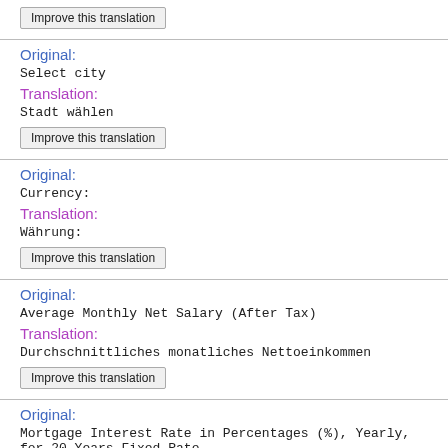Improve this translation
Original:
Select city
Translation:
Stadt wählen
Improve this translation
Original:
Currency:
Translation:
Währung:
Improve this translation
Original:
Average Monthly Net Salary (After Tax)
Translation:
Durchschnittliches monatliches Nettoeinkommen
Improve this translation
Original:
Mortgage Interest Rate in Percentages (%), Yearly, for 20 Years Fixed-Rate